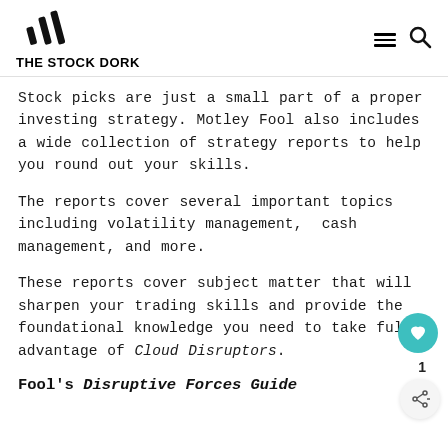THE STOCK DORK
Stock picks are just a small part of a proper investing strategy. Motley Fool also includes a wide collection of strategy reports to help you round out your skills.
The reports cover several important topics including volatility management, cash management, and more.
These reports cover subject matter that will sharpen your trading skills and provide the foundational knowledge you need to take full advantage of Cloud Disruptors.
Fool's Disruptive Forces Guide